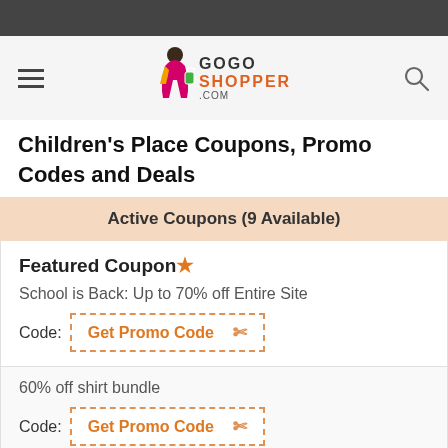GoGoShopper.com
Children's Place Coupons, Promo Codes and Deals
Active Coupons (9 Available)
Featured Coupon ★
School is Back: Up to 70% off Entire Site
Code: Get Promo Code ✂
60% off shirt bundle
Code: Get Promo Code ✂
This Toddler Girls Fox Top will help create a fun vibe as the school year and cooler weather near.